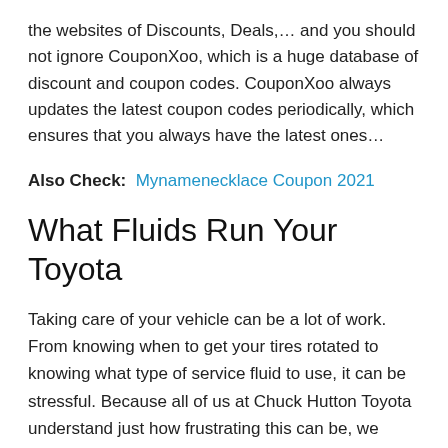the websites of Discounts, Deals,... and you should not ignore CouponXoo, which is a huge database of discount and coupon codes. CouponXoo always updates the latest coupon codes periodically, which ensures that you always have the latest ones...
Also Check:  Mynamenecklace Coupon 2021
What Fluids Run Your Toyota
Taking care of your vehicle can be a lot of work. From knowing when to get your tires rotated to knowing what type of service fluid to use, it can be stressful. Because all of us at Chuck Hutton Toyota understand just how frustrating this can be, we have supplied the vital information that you may need to know when it comes to service fluids. With the information provided below, you have everything that you